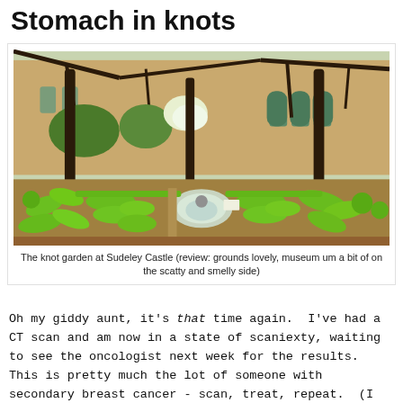Stomach in knots
[Figure (photo): Photograph of the knot garden at Sudeley Castle, showing formally arranged low box hedges in intricate knotted patterns around a central stone fountain, with an old stone building and climbing trees in the background.]
The knot garden at Sudeley Castle (review: grounds lovely, museum um a bit of on the scatty and smelly side)
Oh my giddy aunt, it's that time again.  I've had a CT scan and am now in a state of scaniexty, waiting to see the oncologist next week for the results.  This is pretty much the lot of someone with secondary breast cancer - scan, treat, repeat.  (I nicked that phrase from the excellent Metavivor, and it...